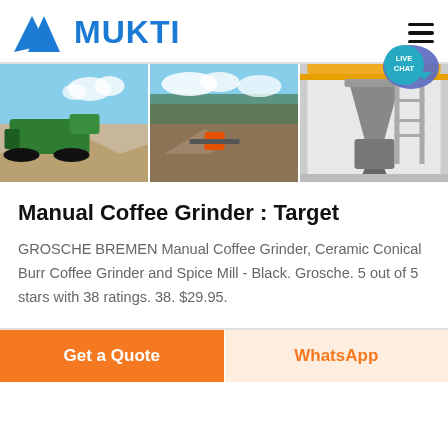[Figure (logo): MUKTI company logo with blue mountain/triangle icon and blue bold text MUKTI]
[Figure (photo): Three banner images showing mining/crushing equipment: green mobile crusher with aggregate pile, open-air aggregate processing site, and indoor cone crusher installation]
Manual Coffee Grinder : Target
GROSCHE BREMEN Manual Coffee Grinder, Ceramic Conical Burr Coffee Grinder and Spice Mill - Black. Grosche. 5 out of 5 stars with 38 ratings. 38. $29.95.
Get a Quote
WhatsApp